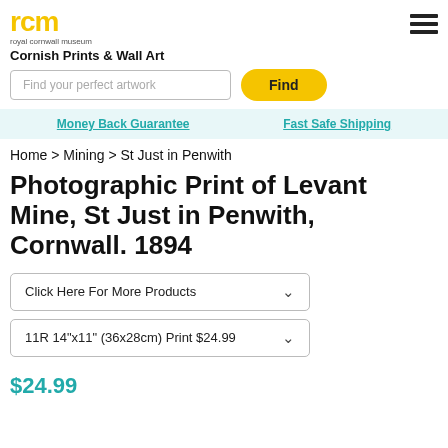rcm royal cornwall museum
Cornish Prints & Wall Art
Find your perfect artwork
Money Back Guarantee | Fast Safe Shipping
Home > Mining > St Just in Penwith
Photographic Print of Levant Mine, St Just in Penwith, Cornwall. 1894
Click Here For More Products
11R 14"x11" (36x28cm) Print $24.99
$24.99